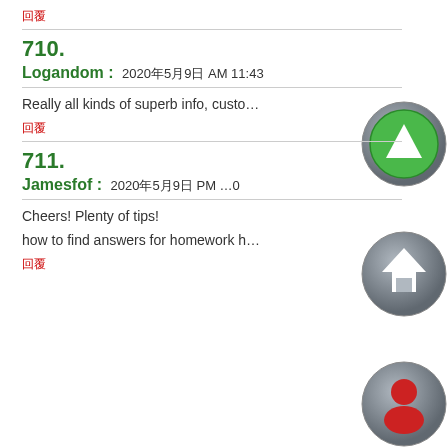回覆
710.
Logandom : 2020年5月9日 AM 11:43
Really all kinds of superb info, custo…
回覆
711.
Jamesfof : 2020年5月9日 PM …0
Cheers! Plenty of tips!
how to find answers for homework h…
回覆
[Figure (illustration): Circular grey button with green upward triangle icon]
[Figure (illustration): Circular grey button with house/home icon]
[Figure (illustration): Circular grey button with red user/person icon]
[Figure (illustration): Circular grey button with purple shop/store icon]
[Figure (illustration): Circular grey button with yellow star icon]